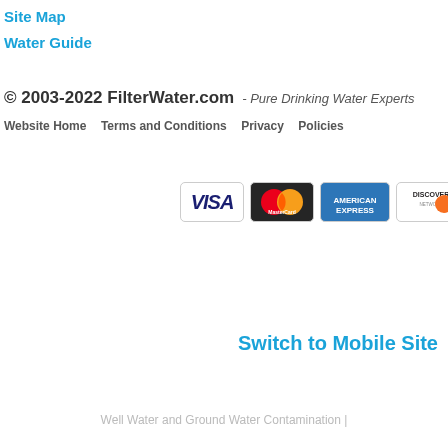Site Map
Water Guide
© 2003-2022 FilterWater.com  - Pure Drinking Water Experts
Website Home    Terms and Conditions    Privacy    Policies
[Figure (other): Payment method logos: Visa, MasterCard, American Express, Discover, PayPal]
Switch to Mobile Site
Well Water and Ground Water Contamination |